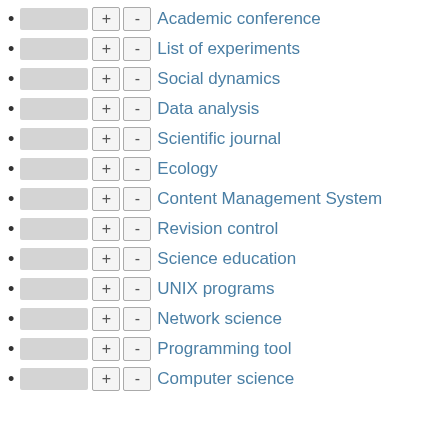Academic conference
List of experiments
Social dynamics
Data analysis
Scientific journal
Ecology
Content Management System
Revision control
Science education
UNIX programs
Network science
Programming tool
Computer science